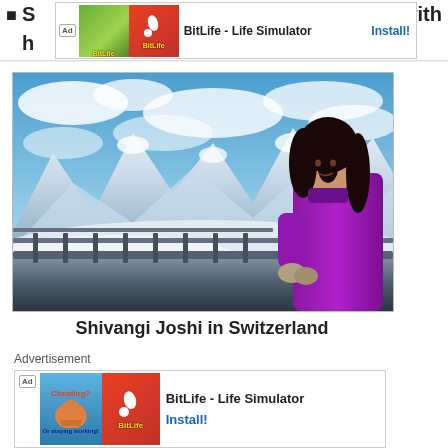S... with h...
[Figure (other): BitLife - Life Simulator advertisement banner at top with Ad label, green and red app icons, app name and Install! button]
[Figure (photo): Shivangi Joshi standing at a mountain viewpoint railing in Switzerland wearing a purple coat, with snow-capped mountains and blue sky in background]
Shivangi Joshi in Switzerland
Advertisement
[Figure (other): BitLife - Life Simulator advertisement banner at bottom with Ad label, blue and red app icons, app name and Install! button]